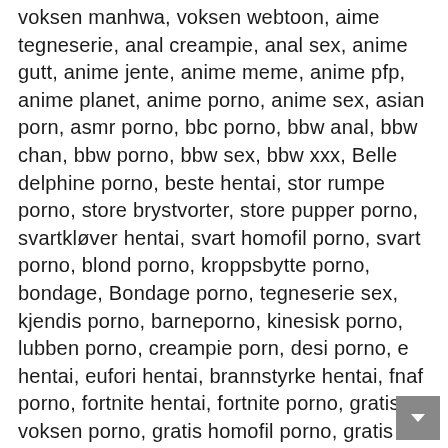voksen manhwa, voksen webtoon, aime tegneserie, anal creampie, anal sex, anime gutt, anime jente, anime meme, anime pfp, anime planet, anime porno, anime sex, asian porn, asmr porno, bbc porno, bbw anal, bbw chan, bbw porno, bbw sex, bbw xxx, Belle delphine porno, beste hentai, stor rumpe porno, store brystvorter, store pupper porno, svartkløver hentai, svart homofil porno, svart porno, blond porno, kroppsbytte porno, bondage, Bondage porno, tegneserie sex, kjendis porno, barneporno, kinesisk porno, lubben porno, creampie porn, desi porno, e hentai, eufori hentai, brannstyrke hentai, fnaf porno, fortnite hentai, fortnite porno, gratis voksen porno, gratis homofil porno, gratis mobilporno, lodne hentai, homofil furry porno, homofil hentai, homofil porno hub, homofilsex, homofil tenåringsporno, ge hentai, hardcore porno, hd porno, hentai 2 lese, hentai anal, hentai anime, hentai kafé, hentai tegneserie, hentai tegneserier, hentai fyr, hentai støperi, hentai gif, hentai tilfluktssted, hentai helter, hentai manga, hentai manhua, hentai manhwa, hentai milf, hentai porno, hentai-strøm, hentai tv, skrekkporno, hesteporno, varm milf, varm porno, varmt sex, incest porno, isekai anime, isekaiscan, japansk moden, jav nå, jav porno, konosuba